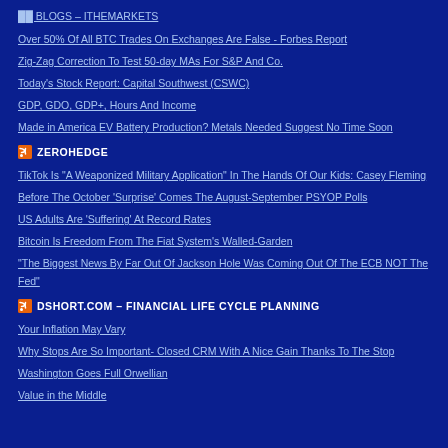BLOGS – ITHEMARKETS
Over 50% Of All BTC Trades On Exchanges Are False - Forbes Report
Zig-Zag Correction To Test 50-day MAs For S&P And Co.
Today's Stock Report: Capital Southwest (CSWC)
GDP, GDO, GDP+, Hours And Income
Made in America EV Battery Production? Metals Needed Suggest No Time Soon
ZEROHEDGE
TikTok Is "A Weaponized Military Application" In The Hands Of Our Kids: Casey Fleming
Before The October 'Surprise' Comes The August-September PSYOP Polls
US Adults Are 'Suffering' At Record Rates
Bitcoin Is Freedom From The Fiat System's Walled-Garden
"The Biggest News By Far Out Of Jackson Hole Was Coming Out Of The ECB NOT The Fed"
DSHORT.COM – FINANCIAL LIFE CYCLE PLANNING
Your Inflation May Vary
Why Stops Are So Important- Closed CRM With A Nice Gain Thanks To The Stop
Washington Goes Full Orwellian
Value in the Middle